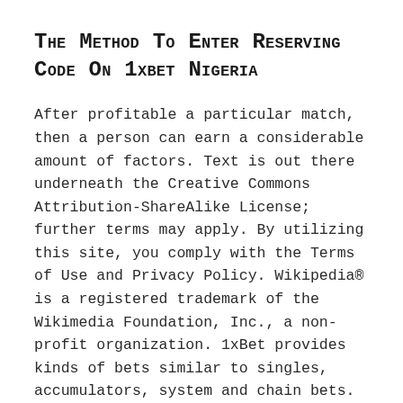The Method To Enter Reserving Code On 1xbet Nigeria
After profitable a particular match, then a person can earn a considerable amount of factors. Text is out there underneath the Creative Commons Attribution-ShareAlike License; further terms may apply. By utilizing this site, you comply with the Terms of Use and Privacy Policy. Wikipedia® is a registered trademark of the Wikimedia Foundation, Inc., a non-profit organization. 1xBet provides kinds of bets similar to singles, accumulators, system and chain bets.
Through this bonus program, you'll be awarded coupon codes, freebets, higher odds on highlighted occasions and free spins. To benefit from this birthday bonus provide, on your birthday,